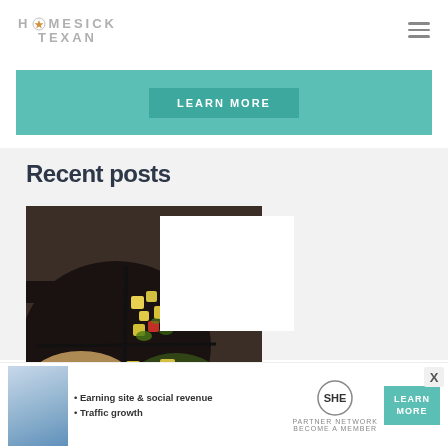HOMESICK TEXAN
[Figure (other): Teal/green banner with LEARN MORE button]
Recent posts
[Figure (photo): Cast iron skillet with diced vegetables including peppers and potatoes on dark background]
[Figure (other): Bottom advertisement banner for SHE Partner Network with text: Earning site & social revenue, Traffic growth, LEARN MORE button and close X button]